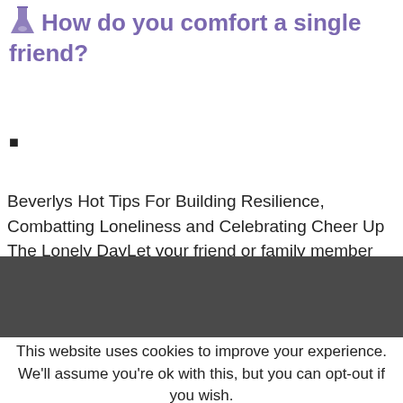🧪 How do you comfort a single friend?
■
Beverlys Hot Tips For Building Resilience, Combatting Loneliness and Celebrating Cheer Up The Lonely DayLet your friend or family member know that you are thinking about them. Let them talk and vent. Give them a hug. Take them out. Play. Ask what they need.Jul 11, 2021
This website uses cookies to improve your experience. We'll assume you're ok with this, but you can opt-out if you wish.